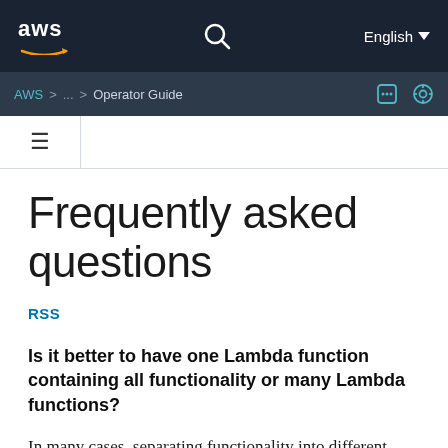[Figure (logo): AWS logo with orange swoosh and white text on dark navy background, search icon, and English language selector]
AWS > ... > Operator Guide
≡
Frequently asked questions
RSS
Is it better to have one Lambda function containing all functionality or many Lambda functions?
In many cases, separating functionality into different functions can provide better performance and also